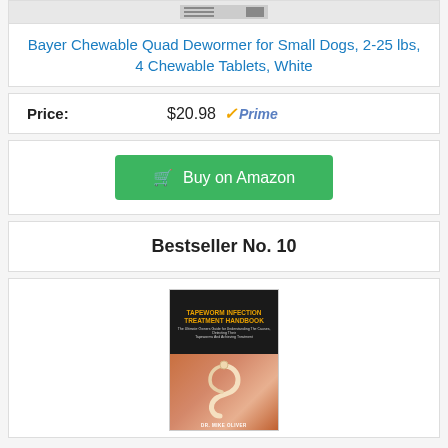[Figure (screenshot): Partial product image strip at top of page showing a white/grey product thumbnail]
Bayer Chewable Quad Dewormer for Small Dogs, 2-25 lbs, 4 Chewable Tablets, White
Price: $20.98 ✓Prime
[Figure (other): Buy on Amazon green button with shopping cart icon]
Bestseller No. 10
[Figure (illustration): Book cover: Tapeworm Infection Treatment Handbook by Dr. Mike Oliver, showing a worm against a dark top and reddish background]